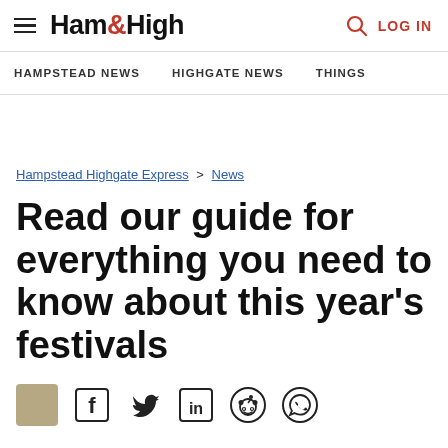Ham&High — HAMPSTEAD NEWS | HIGHGATE NEWS | THINGS | LOG IN
Hampstead Highgate Express > News
Read our guide for everything you need to know about this year's festivals
[Figure (other): Social sharing icons: thumbnail, Facebook, Twitter, LinkedIn, Reddit, WhatsApp]